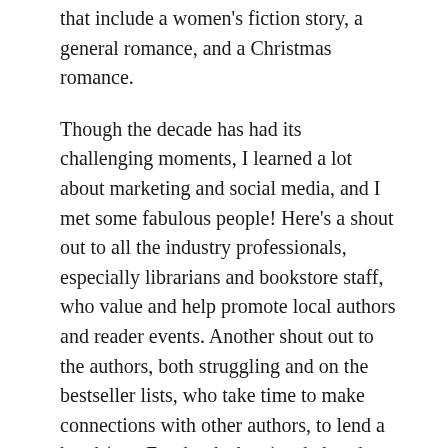that include a women's fiction story, a general romance, and a Christmas romance.
Though the decade has had its challenging moments, I learned a lot about marketing and social media, and I met some fabulous people! Here's a shout out to all the industry professionals, especially librarians and bookstore staff, who value and help promote local authors and reader events. Another shout out to the authors, both struggling and on the bestseller lists, who take time to make connections with other authors, to lend a hand (or a Facebook share) to help others succeed.
In 2020, I'm hoping to become a hybrid author – with books published both through the